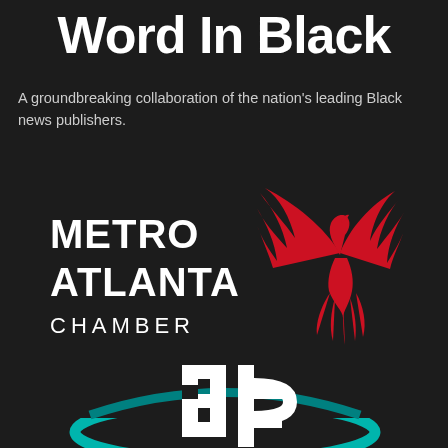Word In Black
A groundbreaking collaboration of the nation's leading Black news publishers.
[Figure (logo): Metro Atlanta Chamber logo with red phoenix bird on black background. Text reads METRO ATLANTA CHAMBER in bold white lettering alongside a stylized red phoenix with spread wings.]
[Figure (logo): Logo with teal swoosh/ellipse shape and white stylized letters 'ab' on black background.]